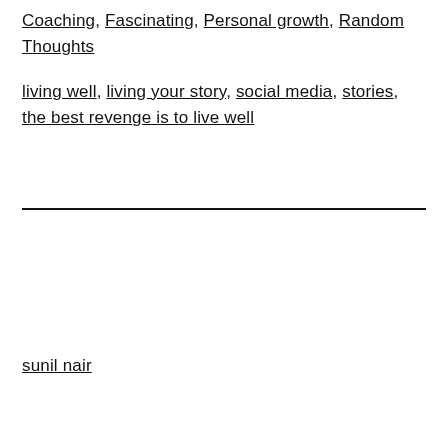Coaching, Fascinating, Personal growth, Random Thoughts
living well, living your story, social media, stories, the best revenge is to live well
sunil nair